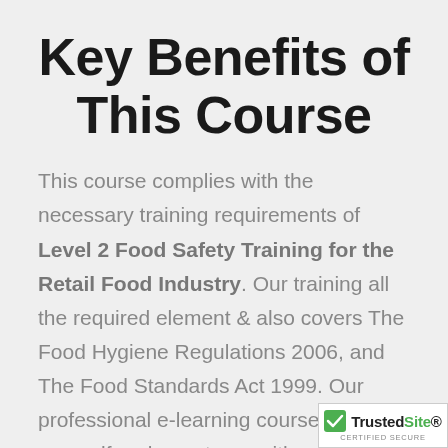Key Benefits of This Course
This course complies with the necessary training requirements of Level 2 Food Safety Training for the Retail Food Industry. Our training all the required element & also covers The Food Hygiene Regulations 2006, and The Food Standards Act 1999. Our professional e-learning course provides yourself and your team with a cost effective training solution as well as being one of
[Figure (logo): TrustedSite Certified Secure badge with green checkmark]